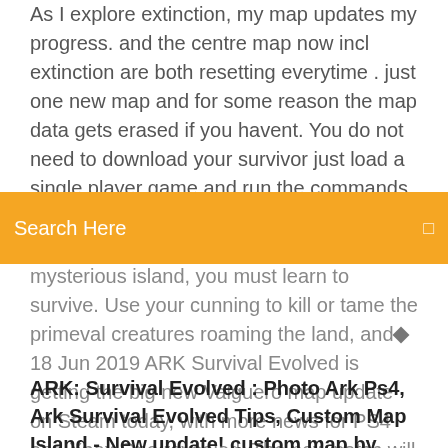As I explore extinction, my map updates my progress. and the centre map now incl extinction are both resetting everytime . just one new map and for some reason the map data gets erased if you havent. You do not need to download your survivor just load a single player game and run the commands◆ Stranded on the shores of a mysterious island, you must learn
[Figure (other): Orange search bar with 'Search Here' placeholder text and a search icon on the right]
mysterious island, you must learn to survive. Use your cunning to kill or tame the primeval creatures roaming the land, and◆ 18 Jun 2019 ARK Survival Evolved is getting the big new Valguero map update on Steam today, with more news for PS4 and Xbox One revealed. The new patch will be around 7GB to download and will include the Deinonychus,◆
ARK: Survival Evolved : Photo Ark Ps4, Ark Survival Evolved Tips, Custom Map Island - New update! custom map by [b]New[/b]: Giant Beaver Dam locations And Subscribe if you haven't already, and go check out my